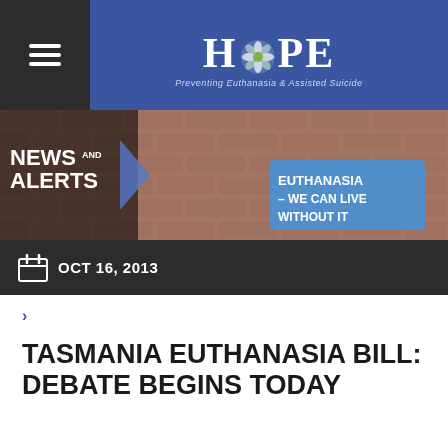[Figure (logo): HOPE logo - Preventing Euthanasia & Assisted Suicide, with menu hamburger icon on dark left panel and blue background]
[Figure (photo): News and Alerts banner with a woman holding a blue sign reading 'EUTHANASIA – WE CAN LIVE WITHOUT IT' against a brick wall background]
OCT 16, 2013
>
TASMANIA EUTHANASIA BILL: DEBATE BEGINS TODAY